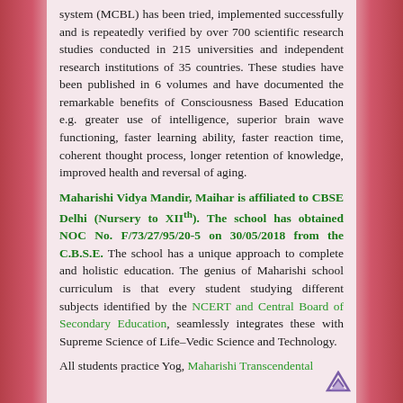system (MCBL) has been tried, implemented successfully and is repeatedly verified by over 700 scientific research studies conducted in 215 universities and independent research institutions of 35 countries. These studies have been published in 6 volumes and have documented the remarkable benefits of Consciousness Based Education e.g. greater use of intelligence, superior brain wave functioning, faster learning ability, faster reaction time, coherent thought process, longer retention of knowledge, improved health and reversal of aging.
Maharishi Vidya Mandir, Maihar is affiliated to CBSE Delhi (Nursery to XIIth). The school has obtained NOC No. F/73/27/95/20-5 on 30/05/2018 from the C.B.S.E. The school has a unique approach to complete and holistic education. The genius of Maharishi school curriculum is that every student studying different subjects identified by the NCERT and Central Board of Secondary Education, seamlessly integrates these with Supreme Science of Life–Vedic Science and Technology.
All students practice Yog, Maharishi Transcendental